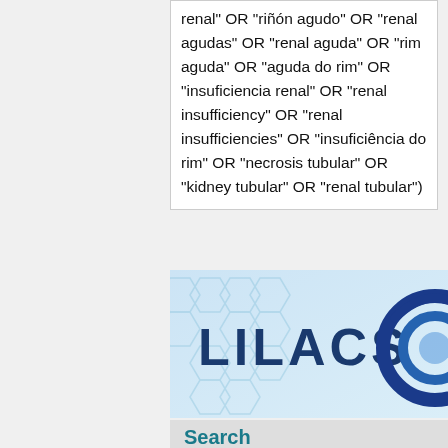renal" OR "riñón agudo" OR "renal agudas" OR "renal aguda" OR "rim aguda" OR "aguda do rim" OR "insuficiencia renal" OR "renal insufficiency" OR "renal insufficiencies" OR "insuficiência do rim" OR "necrosis tubular" OR "kidney tubular" OR "renal tubular")
[Figure (screenshot): LILACS database logo banner with blue hexagonal pattern background and blue circular swirl logo on the right]
Search